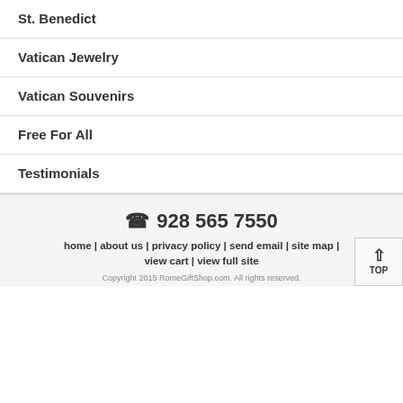St. Benedict
Vatican Jewelry
Vatican Souvenirs
Free For All
Testimonials
☎ 928 565 7550
home | about us | privacy policy | send email | site map | view cart | view full site
Copyright 2015 RomeGiftShop.com. All rights reserved.